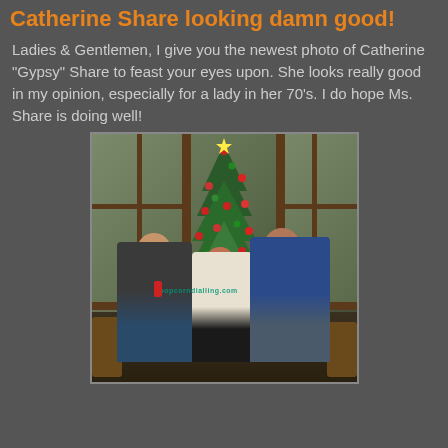Catherine Share looking damn good!
Ladies & Gentlemen, I give you the newest photo of Catherine "Gypsy" Share to feast your eyes upon. She looks really good in my opinion, especially for a lady in her 70's. I do hope Ms. Share is doing well!
[Figure (photo): Indoor photo of three people standing in front of a Christmas tree decorated with red and green ornaments. There are large windows and a door frame behind them. A man in a dark shirt on the left, a woman in a white sweater in the center, and a man in a blue shirt on the right. Wooden chairs visible on either side. A watermark reading 'popcorndilligng.com' is visible.]